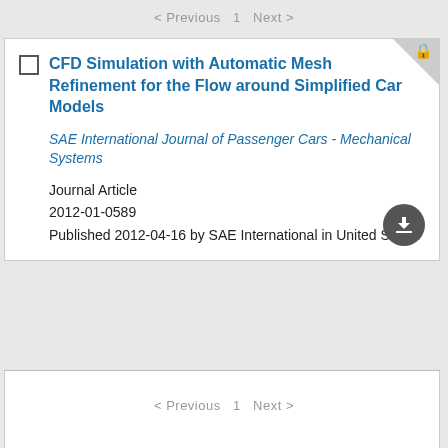< Previous  1  Next >
CFD Simulation with Automatic Mesh Refinement for the Flow around Simplified Car Models
SAE International Journal of Passenger Cars - Mechanical Systems
Journal Article
2012-01-0589
Published 2012-04-16 by SAE International in United States
< Previous  1  Next >